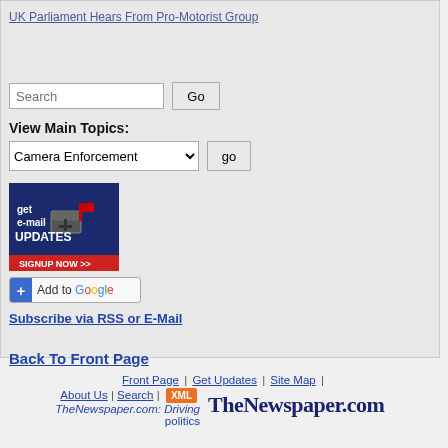UK Parliament Hears From Pro-Motorist Group
Search
View Main Topics:
Camera Enforcement
[Figure (infographic): Email updates signup banner with mailbox graphic, text: get e-mail UPDATES, SIGNUP NOW >>]
[Figure (logo): Add to Google button with blue plus icon]
Subscribe via RSS or E-Mail
Back To Front Page
Front Page | Get Updates | Site Map | About Us | Search | XML TheNewspaper.com: Driving politics   TheNewspaper.com